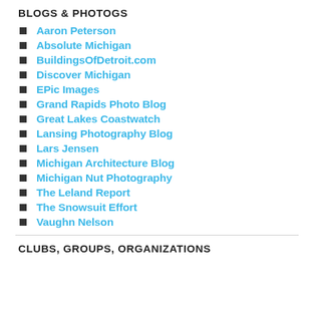BLOGS & PHOTOGS
Aaron Peterson
Absolute Michigan
BuildingsOfDetroit.com
Discover Michigan
EPic Images
Grand Rapids Photo Blog
Great Lakes Coastwatch
Lansing Photography Blog
Lars Jensen
Michigan Architecture Blog
Michigan Nut Photography
The Leland Report
The Snowsuit Effort
Vaughn Nelson
CLUBS, GROUPS, ORGANIZATIONS